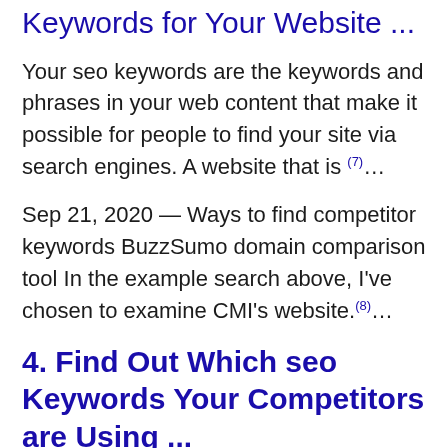Keywords for Your Website ...
Your seo keywords are the keywords and phrases in your web content that make it possible for people to find your site via search engines. A website that is (7)...
Sep 21, 2020 — Ways to find competitor keywords BuzzSumo domain comparison tool In the example search above, I've chosen to examine CMI's website.(8)...
4. Find Out Which seo Keywords Your Competitors are Using ...
Dec 11, 2019 — View Page Source to Find